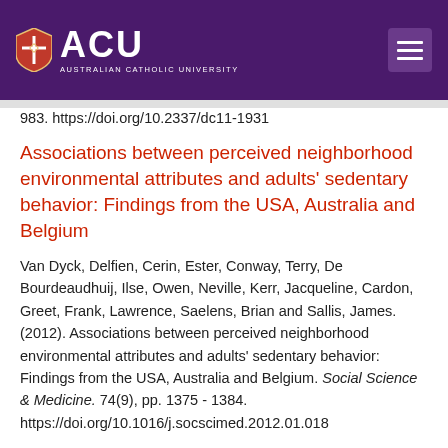[Figure (logo): Australian Catholic University (ACU) logo with purple header bar, shield icon, ACU text, and hamburger menu button]
983. https://doi.org/10.2337/dc11-1931
Associations between perceived neighborhood environmental attributes and adults' sedentary behavior: Findings from the USA, Australia and Belgium
Van Dyck, Delfien, Cerin, Ester, Conway, Terry, De Bourdeaudhuij, Ilse, Owen, Neville, Kerr, Jacqueline, Cardon, Greet, Frank, Lawrence, Saelens, Brian and Sallis, James. (2012). Associations between perceived neighborhood environmental attributes and adults' sedentary behavior: Findings from the USA, Australia and Belgium. Social Science & Medicine. 74(9), pp. 1375 - 1384. https://doi.org/10.1016/j.socscimed.2012.01.018